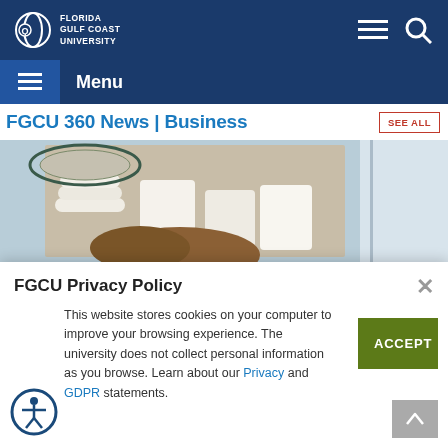Florida Gulf Coast University
Menu
FGCU 360 News | Business
[Figure (photo): Photo of a person with stacked white cups and bowls on shelves with decorative tile background]
FGCU Privacy Policy
This website stores cookies on your computer to improve your browsing experience. The university does not collect personal information as you browse. Learn about our Privacy and GDPR statements.